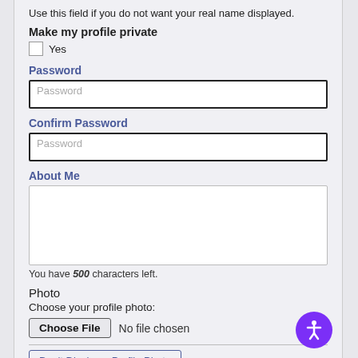Use this field if you do not want your real name displayed.
Make my profile private
Yes
Password
Password (input field placeholder)
Confirm Password
Password (input field placeholder)
About Me
You have 500 characters left.
Photo
Choose your profile photo:
Choose File  No file chosen
Don't Display a Profile Photo